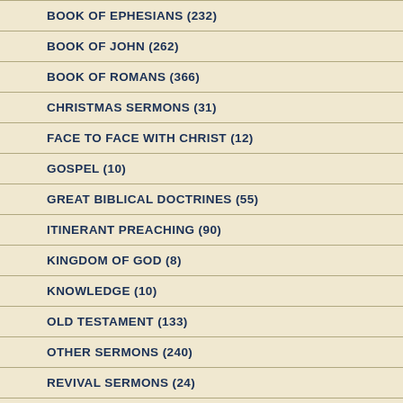BOOK OF EPHESIANS (232)
BOOK OF JOHN (262)
BOOK OF ROMANS (366)
CHRISTMAS SERMONS (31)
FACE TO FACE WITH CHRIST (12)
GOSPEL (10)
GREAT BIBLICAL DOCTRINES (55)
ITINERANT PREACHING (90)
KINGDOM OF GOD (8)
KNOWLEDGE (10)
OLD TESTAMENT (133)
OTHER SERMONS (240)
REVIVAL SERMONS (24)